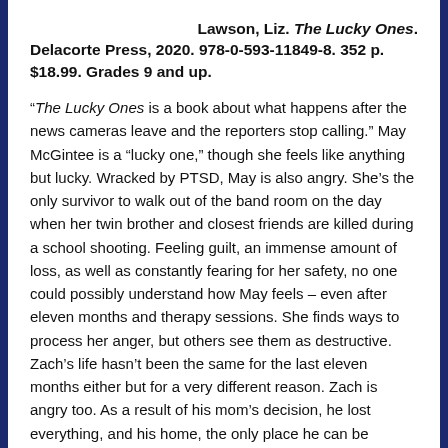Lawson, Liz. The Lucky Ones. Delacorte Press, 2020. 978-0-593-11849-8. 352 p. $18.99. Grades 9 and up.
“The Lucky Ones is a book about what happens after the news cameras leave and the reporters stop calling.” May McGintee is a “lucky one,” though she feels like anything but lucky. Wracked by PTSD, May is also angry. She’s the only survivor to walk out of the band room on the day when her twin brother and closest friends are killed during a school shooting. Feeling guilt, an immense amount of loss, as well as constantly fearing for her safety, no one could possibly understand how May feels – even after eleven months and therapy sessions. She finds ways to process her anger, but others see them as destructive. Zach’s life hasn’t been the same for the last eleven months either but for a very different reason. Zach is angry too. As a result of his mom’s decision, he lost everything, and his home, the only place he can be himself, is being vandalized. It doesn’t help that his mom is never home, and his dad is an absent parent, barely able to get himself out of bed or even get dressed. Zach and May